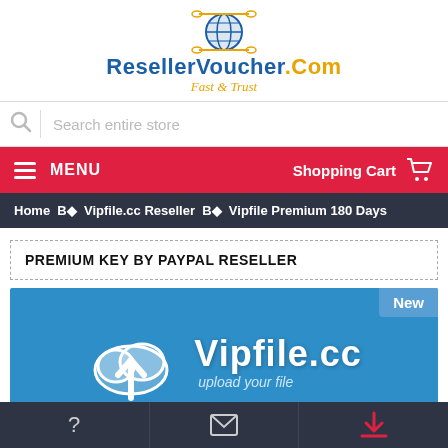[Figure (logo): ResellerVoucher.Com logo with globe/drone icon, blue text, and orange 'Fast & Trust' tagline]
Search entire store
MENU  Shopping Cart
Home &#1042;◆ Vipfile.cc Reseller &#1042;◆ Vipfile Premium 180 Days
PREMIUM KEY BY PAYPAL RESELLER
[Figure (screenshot): Vipfile.cc product image on blue background with cloud upload icon and text 'Vipfile.cc upload your file', with 'New' badge in top right]